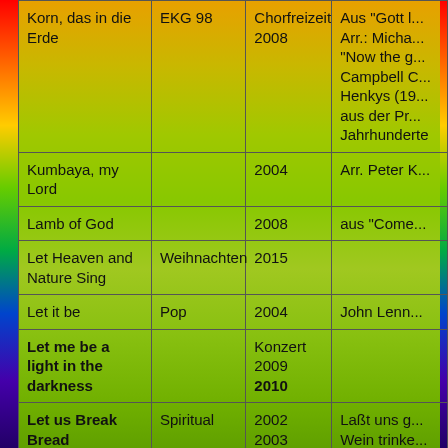| Title | Category | Year | Notes |
| --- | --- | --- | --- |
| Korn, das in die Erde | EKG 98 | Chorfreizeit 2008 | Aus "Gott l... Arr.: Micha... "Now the g... Campbell C... Henkys (19... aus der Pr... Jahrhunderte |
| Kumbaya, my Lord |  | 2004 | Arr. Peter K... |
| Lamb of God |  | 2008 | aus "Come... |
| Let Heaven and Nature Sing | Weihnachten | 2015 |  |
| Let it be | Pop | 2004 | John Lenn... |
| Let me be a light in the darkness |  | Konzert 2009
2010 |  |
| Let us Break Bread | Spiritual | 2002 2003
Offertorium | Laßt uns g...
Wein trinke...
mein k... |